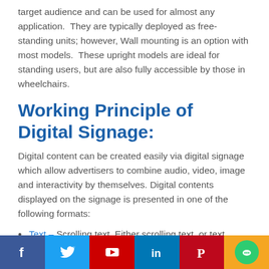target audience and can be used for almost any application.  They are typically deployed as free-standing units; however, Wall mounting is an option with most models.  These upright models are ideal for standing users, but are also fully accessible by those in wheelchairs.
Working Principle of Digital Signage:
Digital content can be created easily via digital signage which allow advertisers to combine audio, video, image and interactivity by themselves. Digital contents displayed on the signage is presented in one of the following formats:
Text – Scrolling text. Either scrolling text, or text …